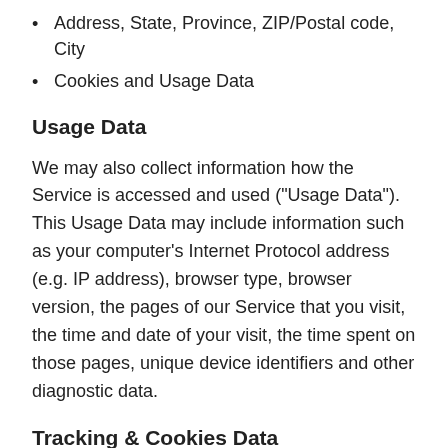Address, State, Province, ZIP/Postal code, City
Cookies and Usage Data
Usage Data
We may also collect information how the Service is accessed and used ("Usage Data"). This Usage Data may include information such as your computer's Internet Protocol address (e.g. IP address), browser type, browser version, the pages of our Service that you visit, the time and date of your visit, the time spent on those pages, unique device identifiers and other diagnostic data.
Tracking & Cookies Data
We use cookies and similar tracking technologies